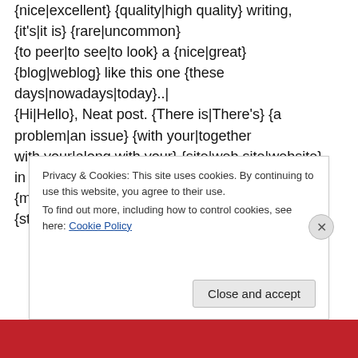{nice|excellent} {quality|high quality} writing, {it's|it is} {rare|uncommon} {to peer|to see|to look} a {nice|great} {blog|weblog} like this one {these days|nowadays|today}..|  {Hi|Hello}, Neat post. {There is|There's} {a problem|an issue} {with your|together with your|along with your} {site|web site|website} in {internet|web} explorer, {may|might|could|would} {check|test} this? IE {still|nonetheless} is the {marketplace|market}
Privacy & Cookies: This site uses cookies. By continuing to use this website, you agree to their use.
To find out more, including how to control cookies, see here: Cookie Policy